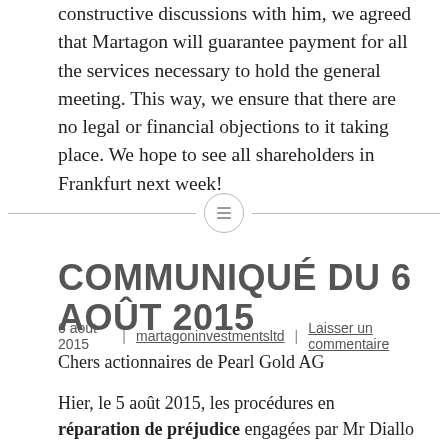constructive discussions with him, we agreed that Martagon will guarantee payment for all the services necessary to hold the general meeting. This way, we ensure that there are no legal or financial objections to it taking place. We hope to see all shareholders in Frankfurt next week!
COMMUNIQUÉ DU 6 AOÛT 2015
6 août 2015  |  martagoninvestmentsltd  |  Laisser un commentaire
Chers actionnaires de Pearl Gold AG
Hier, le 5 août 2015, les procédures en réparation de préjudice engagées par Mr Diallo tant à titre personnel qu'au nom de ses deux sociétés, Pièces d'Or Mansa Moussa SA et SODINAE SA